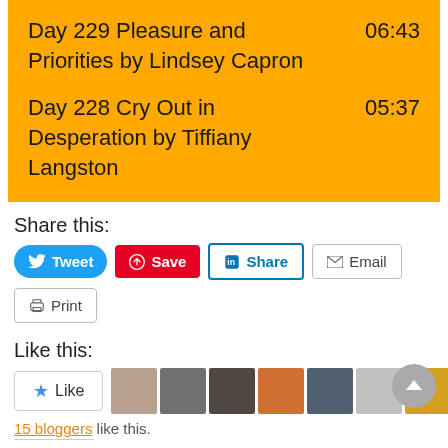Day 229 Pleasure and Priorities by Lindsey Capron   06:43
Day 228 Cry Out in Desperation by Tiffiany Langston   05:37
Share this:
[Figure (screenshot): Social share buttons: Tweet, Save, Share, Email, Print]
Like this:
[Figure (screenshot): Like button and 10 blogger avatars]
15 bloggers like this.